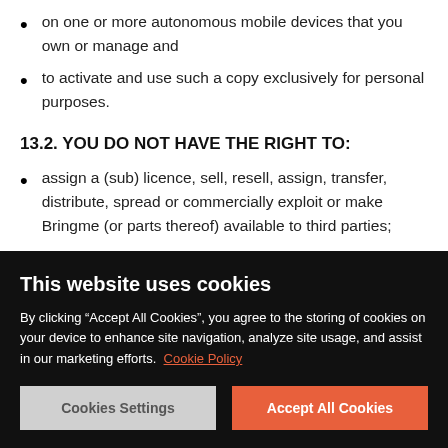on one or more autonomous mobile devices that you own or manage and
to activate and use such a copy exclusively for personal purposes.
13.2. YOU DO NOT HAVE THE RIGHT TO:
assign a (sub) licence, sell, resell, assign, transfer, distribute, spread or commercially exploit or make Bringme (or parts thereof) available to third parties;
This website uses cookies
By clicking “Accept All Cookies”, you agree to the storing of cookies on your device to enhance site navigation, analyze site usage, and assist in our marketing efforts. Cookie Policy